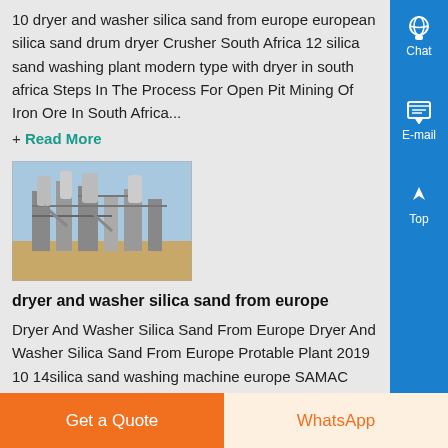10 dryer and washer silica sand from europe european silica sand drum dryer Crusher South Africa 12 silica sand washing plant modern type with dryer in south africa Steps In The Process For Open Pit Mining Of Iron Ore In South Africa...
+ Read More
[Figure (photo): Industrial silica sand washing/drying machinery plant equipment]
dryer and washer silica sand from europe
Dryer And Washer Silica Sand From Europe Dryer And Washer Silica Sand From Europe Protable Plant 2019 10 14silica sand washing machine europe SAMAC Whatever your requirements y find the perfect service oriented solution to match your specific
Get a Quote
WhatsApp